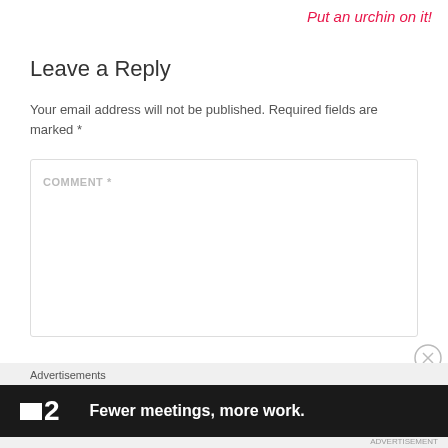Put an urchin on it!
Leave a Reply
Your email address will not be published. Required fields are marked *
COMMENT *
[Figure (other): Close/dismiss button (circled X) on right side]
Advertisements
[Figure (screenshot): Dark advertisement banner for a product with logo square and number 2, tagline: Fewer meetings, more work.]